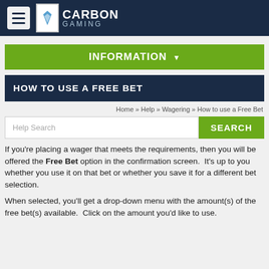Carbon Gaming
INFORMATION
HOW TO USE A FREE BET
Home » Help » Wagering » How to use a Free Bet
Help Search
SEARCH
If you're placing a wager that meets the requirements, then you will be offered the Free Bet option in the confirmation screen.  It's up to you whether you use it on that bet or whether you save it for a different bet selection.
When selected, you'll get a drop-down menu with the amount(s) of the free bet(s) available.  Click on the amount you'd like to use.